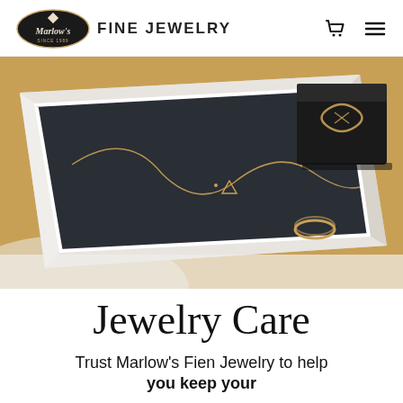Marlow's Fine Jewelry
[Figure (photo): A jewelry display tray with a gold necklace and ring, alongside a black ring box displaying a ring, on a gold background.]
Jewelry Care
Trust Marlow's Fien Jewelry to help you keep your